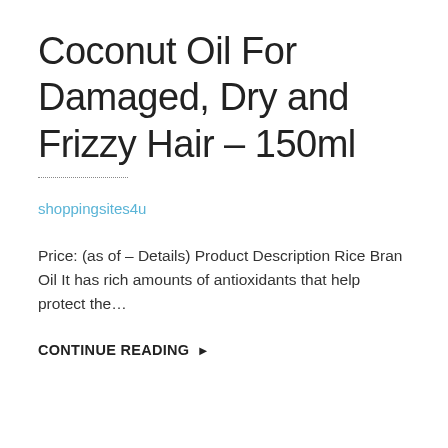Coconut Oil For Damaged, Dry and Frizzy Hair – 150ml
shoppingsites4u
Price: (as of – Details) Product Description Rice Bran Oil It has rich amounts of antioxidants that help protect the…
CONTINUE READING ▶